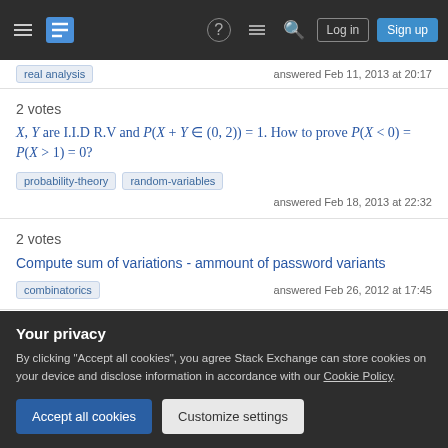Stack Exchange navigation bar with hamburger menu, logo, help, chat, search icons, Log in and Sign up buttons
real-analysis | answered Feb 11, 2013 at 20:17
2 votes
X, Y are I.I.D R.V and P(X + Y ∈ (0, 2)) = 1. How to prove P(X < 0) = P(X > 1) = 0?
probability-theory
random-variables
answered Feb 18, 2013 at 22:32
2 votes
Compute sum of variations - ammount of password variants
combinatorics
answered Feb 26, 2012 at 17:45
Your privacy
By clicking "Accept all cookies", you agree Stack Exchange can store cookies on your device and disclose information in accordance with our Cookie Policy.
Accept all cookies
Customize settings